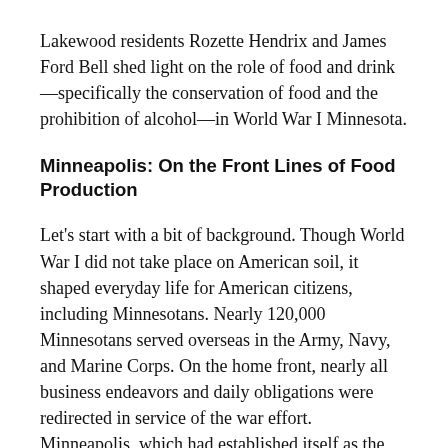Lakewood residents Rozette Hendrix and James Ford Bell shed light on the role of food and drink—specifically the conservation of food and the prohibition of alcohol—in World War I Minnesota.
Minneapolis: On the Front Lines of Food Production
Let's start with a bit of background. Though World War I did not take place on American soil, it shaped everyday life for American citizens, including Minnesotans. Nearly 120,000 Minnesotans served overseas in the Army, Navy, and Marine Corps. On the home front, nearly all business endeavors and daily obligations were redirected in service of the war effort. Minneapolis, which had established itself as the greatest wheat producing city in the country by the 1880s,